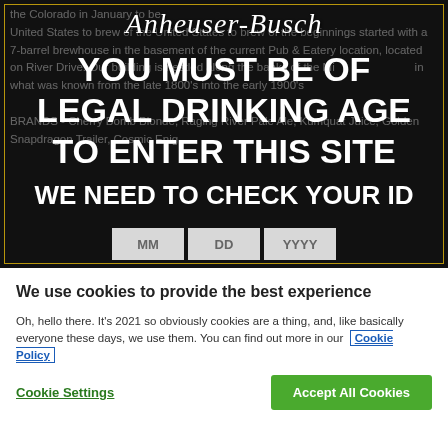[Figure (screenshot): Age verification overlay on dark background with Anheuser-Busch logo, showing 'YOU MUST BE OF LEGAL DRINKING AGE TO ENTER THIS SITE / WE NEED TO CHECK YOUR ID' with MM DD YYYY date input boxes. Background shows dimmed brewery text about River District location and brands including Cherry Bomb Blonde, Raging River Pale Ale, Kumquat Juice, Golden Snapdragon Trailer, Cosmic Enig...]
We use cookies to provide the best experience
Oh, hello there. It's 2021 so obviously cookies are a thing, and, like basically everyone these days, we use them. You can find out more in our Cookie Policy
Cookie Settings
Accept All Cookies